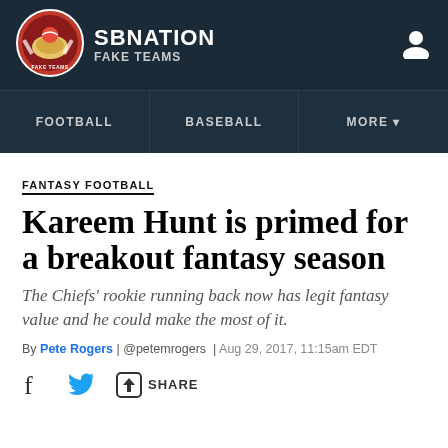SB NATION / FAKE TEAMS
[Figure (logo): SB Nation Fake Teams logo circle with sports imagery]
FANTASY FOOTBALL
Kareem Hunt is primed for a breakout fantasy season
The Chiefs' rookie running back now has legit fantasy value and he could make the most of it.
By Pete Rogers | @petemrogers | Aug 29, 2017, 11:15am EDT